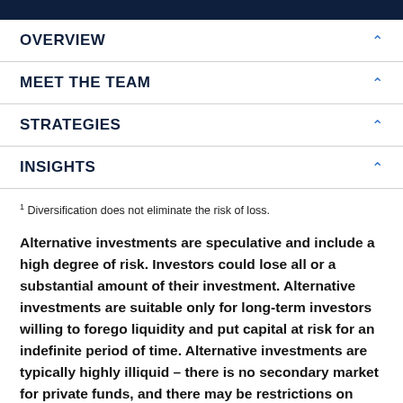OVERVIEW
MEET THE TEAM
STRATEGIES
INSIGHTS
1 Diversification does not eliminate the risk of loss.
Alternative investments are speculative and include a high degree of risk. Investors could lose all or a substantial amount of their investment. Alternative investments are suitable only for long-term investors willing to forego liquidity and put capital at risk for an indefinite period of time. Alternative investments are typically highly illiquid – there is no secondary market for private funds, and there may be restrictions on redemptions or assigning or otherwise transferring investments into private funds. Alternative investment funds often engage in leverage and